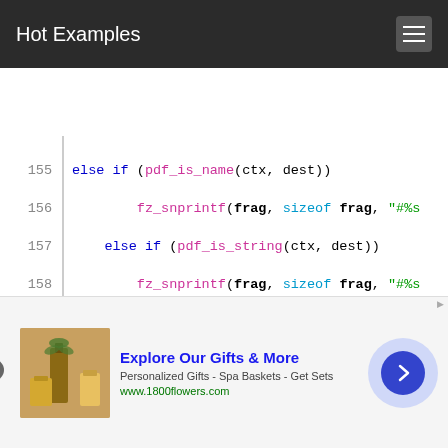Hot Examples
[Figure (screenshot): Code viewer showing lines 155-170 of C source code with syntax highlighting]
Explore Our Gifts & More — Personalized Gifts - Spa Baskets - Get Sets — www.1800flowers.com